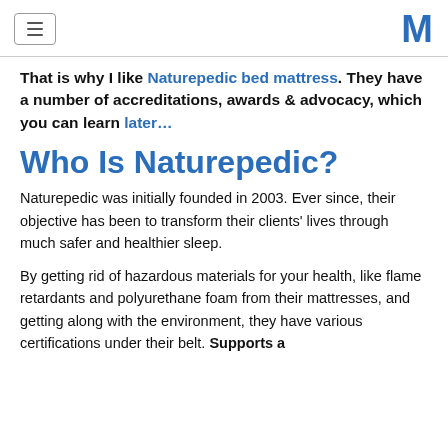[hamburger menu icon] [M logo]
That is why I like Naturepedic bed mattress. They have a number of accreditations, awards & advocacy, which you can learn later…
Who Is Naturepedic?
Naturepedic was initially founded in 2003. Ever since, their objective has been to transform their clients' lives through much safer and healthier sleep.
By getting rid of hazardous materials for your health, like flame retardants and polyurethane foam from their mattresses, and getting along with the environment, they have various certifications under their belt. Supports a